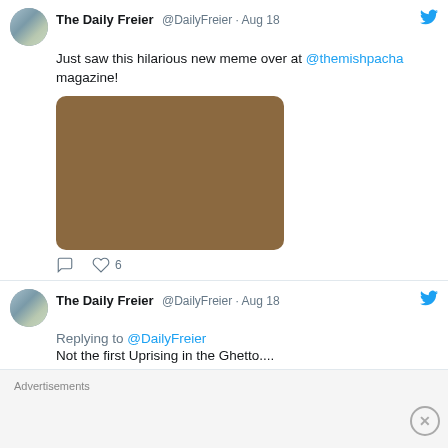The Daily Freier @DailyFreier · Aug 18
Just saw this hilarious new meme over at @themishpacha magazine!
[Figure (photo): Brown/tan colored image placeholder (meme image, content obscured)]
6 likes
The Daily Freier @DailyFreier · Aug 18
Replying to @DailyFreier
Not the first Uprising in the Ghetto....
Advertisements